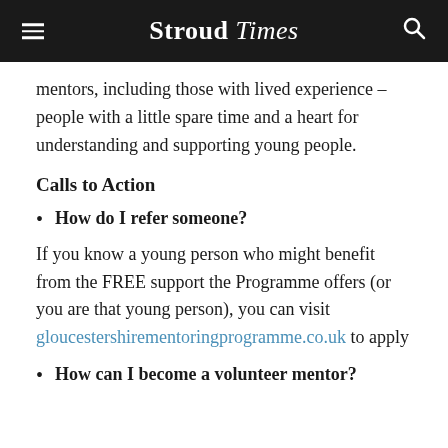Stroud Times
mentors, including those with lived experience – people with a little spare time and a heart for understanding and supporting young people.
Calls to Action
How do I refer someone?
If you know a young person who might benefit from the FREE support the Programme offers (or you are that young person), you can visit gloucestershirementoringprogramme.co.uk to apply
How can I become a volunteer mentor?